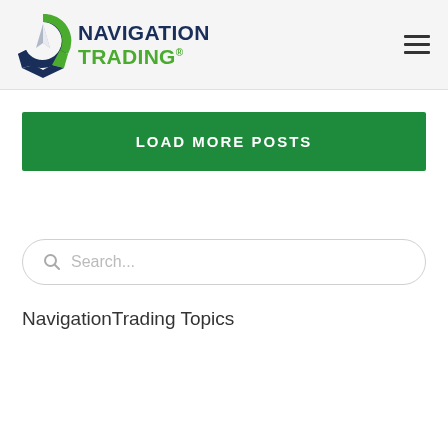[Figure (logo): Navigation Trading logo with compass icon and green/navy text]
LOAD MORE POSTS
Search...
NavigationTrading Topics